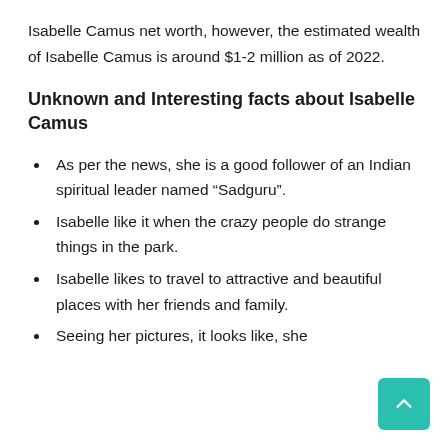Isabelle Camus net worth, however, the estimated wealth of Isabelle Camus is around $1-2 million as of 2022.
Unknown and Interesting facts about Isabelle Camus
As per the news, she is a good follower of an Indian spiritual leader named “Sadguru”.
Isabelle like it when the crazy people do strange things in the park.
Isabelle likes to travel to attractive and beautiful places with her friends and family.
Seeing her pictures, it looks like, she